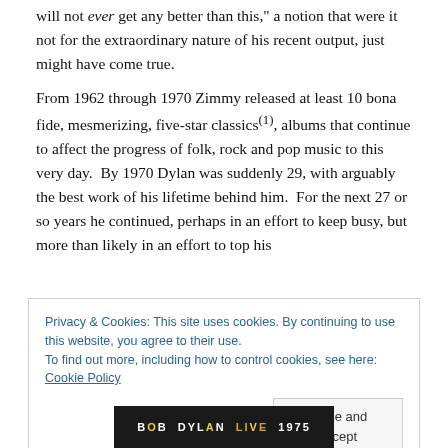will not ever get any better than this," a notion that were it not for the extraordinary nature of his recent output, just might have come true.
From 1962 through 1970 Zimmy released at least 10 bona fide, mesmerizing, five-star classics(1), albums that continue to affect the progress of folk, rock and pop music to this very day.  By 1970 Dylan was suddenly 29, with arguably the best work of his lifetime behind him.  For the next 27 or so years he continued, perhaps in an effort to keep busy, but more than likely in an effort to top his
Privacy & Cookies: This site uses cookies. By continuing to use this website, you agree to their use.
To find out more, including how to control cookies, see here: Cookie Policy
[Figure (screenshot): Album strip showing 'BOB DYLAN LIVE 1975' text on dark background]